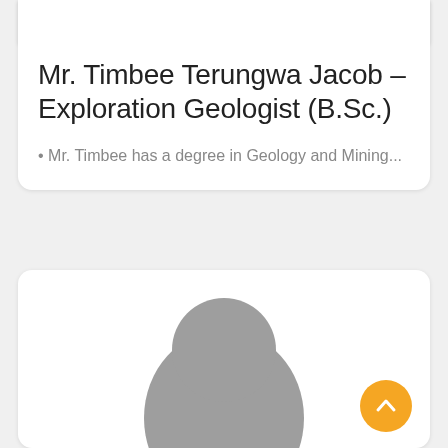[Figure (illustration): Top portion of a profile card showing a cropped silhouette avatar image at the top]
Mr. Timbee Terungwa Jacob – Exploration Geologist (B.Sc.)
Mr. Timbee has a degree in Geology and Mining...
[Figure (illustration): Second profile card with a grey circular avatar placeholder silhouette and a yellow/orange FAB arrow-up button in the bottom right]